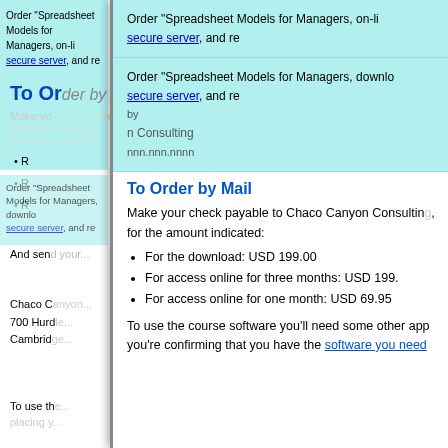[Figure (screenshot): Webpage showing ordering information for Spreadsheet Models for Managers course, with a popup/overlay panel on the right showing 'To Order by Mail' section with pricing details and instructor info visible in background.]
To Order by Mail
Make your check payable to Chaco Canyon Consulting, for the amount indicated:
For the download: USD 199.00
For access online for three months: USD 199.
For access online for one month: USD 69.95
To use the course software you'll need some other app you're confirming that you have the software you need